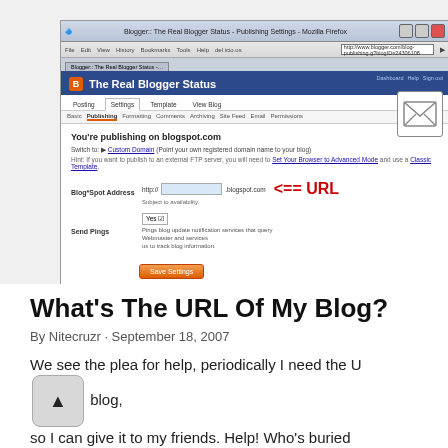[Figure (screenshot): Screenshot of Mozilla Firefox browser showing Blogger 'The Real Blogger Status' Publishing Settings page. Shows Blog*Spot Address field with URL annotation '<== URL' in red, Send Pings field set to Yes, and a Save Settings button. An envelope icon overlay is in the top-right area.]
What's The URL Of My Blog?
By Nitecruzr · September 18, 2007
We see the plea for help, periodically I need the URL of my blog, so I can give it to my friends. Help! Who's buried Tomb, after all? No Chuck, be polite. OK. OK. The title of this